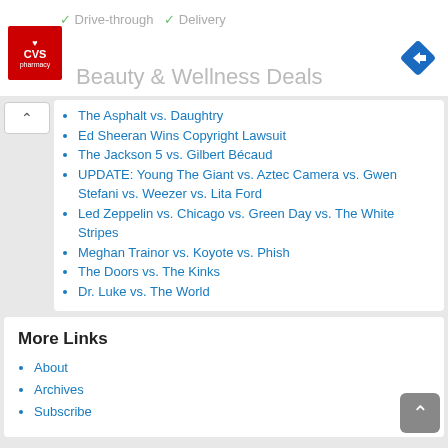[Figure (logo): CVS Pharmacy red logo square]
[Figure (logo): Blue diamond navigation icon with right arrow]
✓ Drive-through  ✓ Delivery
Beauty & Wellness Deals
The Asphalt vs. Daughtry
Ed Sheeran Wins Copyright Lawsuit
The Jackson 5 vs. Gilbert Bécaud
UPDATE: Young The Giant vs. Aztec Camera vs. Gwen Stefani vs. Weezer vs. Lita Ford
Led Zeppelin vs. Chicago vs. Green Day vs. The White Stripes
Meghan Trainor vs. Koyote vs. Phish
The Doors vs. The Kinks
Dr. Luke vs. The World
More Links
About
Archives
Subscribe